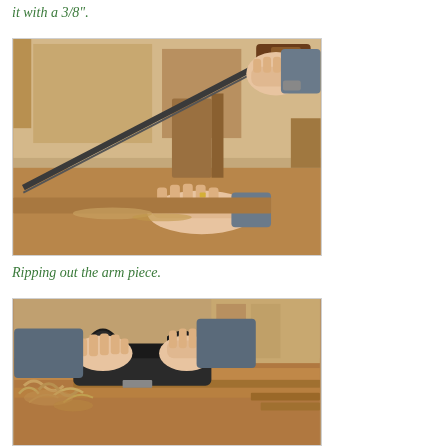it with a 3/8".
[Figure (photo): Person ripping a wood arm piece using a hand saw on a workbench with sawdust and wooden jigs visible.]
Ripping out the arm piece.
[Figure (photo): Person using a hand plane on a wooden board on a workbench, with wood shavings/curls visible around the tool.]